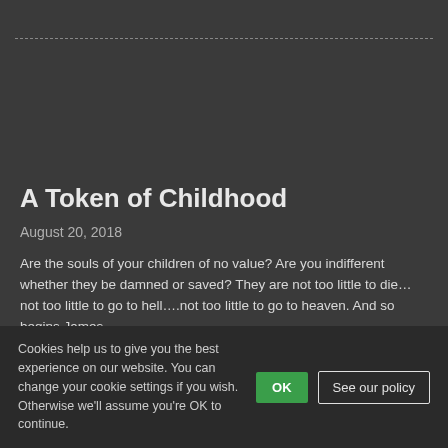A Token of Childhood
August 20, 2018
Are the souls of your children of no value? Are you indifferent whether they be damned or saved? They are not too little to die…not too little to go to hell….not too little to go to heaven. And so begins James
Cookies help us to give you the best experience on our website. You can change your cookie settings if you wish. Otherwise we'll assume you're OK to continue.
OK
See our policy